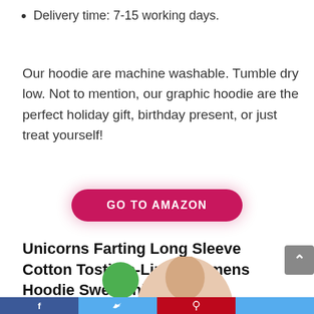Delivery time: 7-15 working days.
Our hoodie are machine washable. Tumble dry low. Not to mention, our graphic hoodie are the perfect holiday gift, birthday present, or just treat yourself!
[Figure (other): GO TO AMAZON button — rounded pink/red pill-shaped button with white bold uppercase text]
Unicorns Farting Long Sleeve Cotton Tostitos-Lime- Womens Hoodie Sweatshirt
[Figure (photo): Partial photo of a woman modeling a hoodie sweatshirt, cropped at bottom of page]
Social sharing bar at bottom with Facebook, Twitter, Pinterest icons